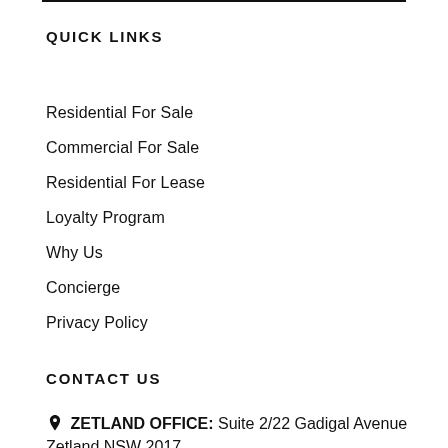QUICK LINKS
Residential For Sale
Commercial For Sale
Residential For Lease
Loyalty Program
Why Us
Concierge
Privacy Policy
CONTACT US
ZETLAND OFFICE: Suite 2/22 Gadigal Avenue Zetland NSW 2017